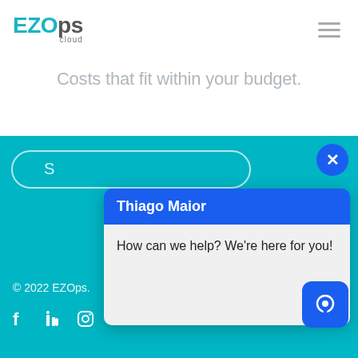[Figure (logo): EZOps cloud logo in teal and gray]
Costs that fit within your budget.
[Figure (screenshot): Teal background section with chat popup from Thiago Maior saying 'How can we help? We're here for you!' with a close button and chat bubble button]
© 2022 EZOps.